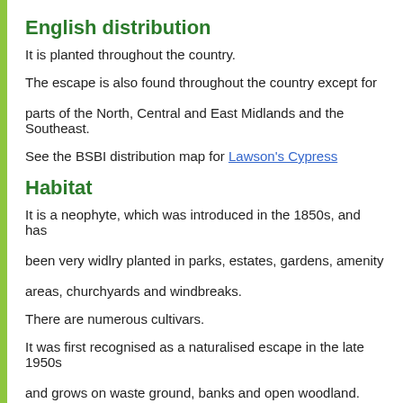English distribution
It is planted throughout the country.
The escape is also found throughout the country except for parts of the North, Central and East Midlands and the Southeast.
See the BSBI distribution map for Lawson's Cypress
Habitat
It is a neophyte, which was introduced in the 1850s, and has been very widlry planted in parks, estates, gardens, amenity areas, churchyards and windbreaks.
There are numerous cultivars.
It was first recognised as a naturalised escape in the late 1950s and grows on waste ground, banks and open woodland.
Description